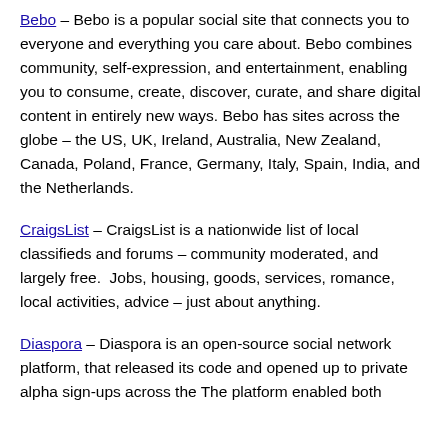Bebo – Bebo is a popular social site that connects you to everyone and everything you care about. Bebo combines community, self-expression, and entertainment, enabling you to consume, create, discover, curate, and share digital content in entirely new ways. Bebo has sites across the globe – the US, UK, Ireland, Australia, New Zealand, Canada, Poland, France, Germany, Italy, Spain, India, and the Netherlands.
CraigsList – CraigsList is a nationwide list of local classifieds and forums – community moderated, and largely free.  Jobs, housing, goods, services, romance, local activities, advice – just about anything.
Diaspora – Diaspora is an open-source social network platform, that released its code and opened up to private alpha sign-ups across the The platform enabled both...